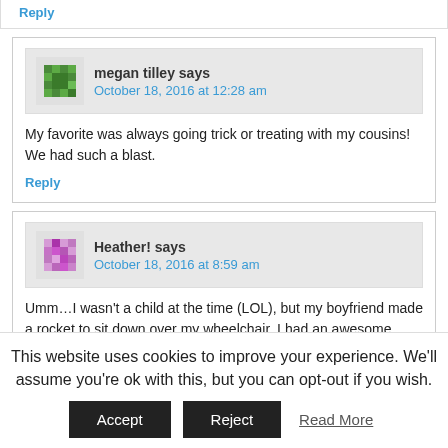Reply
megan tilley says
October 18, 2016 at 12:28 am
My favorite was always going trick or treating with my cousins! We had such a blast.
Reply
Heather! says
October 18, 2016 at 8:59 am
Umm…I wasn't a child at the time (LOL), but my boyfriend made a rocket to sit down over my wheelchair. I had an awesome alien mask that I wore, and I carried a ray gun. We put a can with dry ice in the back of the rocket with a small rubber hose that we
This website uses cookies to improve your experience. We'll assume you're ok with this, but you can opt-out if you wish.